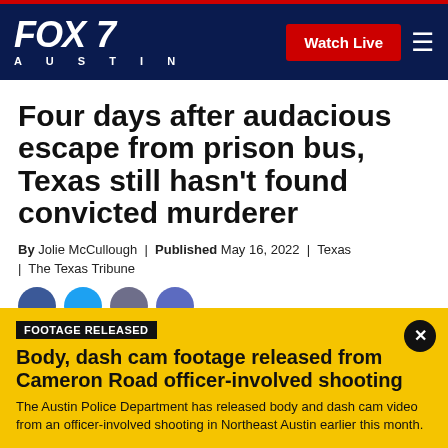FOX 7 AUSTIN | Watch Live
Four days after audacious escape from prison bus, Texas still hasn't found convicted murderer
By Jolie McCullough | Published May 16, 2022 | Texas | The Texas Tribune
[Figure (other): Social media share icons: Facebook, Twitter, LinkedIn, Email]
FOOTAGE RELEASED
Body, dash cam footage released from Cameron Road officer-involved shooting
The Austin Police Department has released body and dash cam video from an officer-involved shooting in Northeast Austin earlier this month.